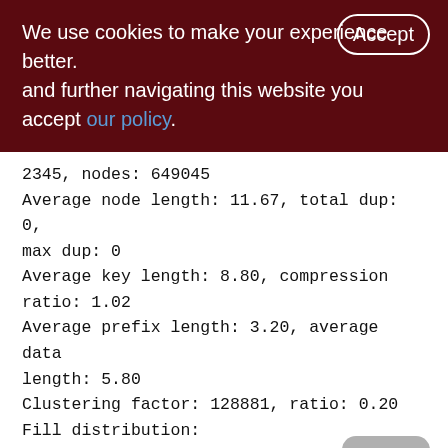We use cookies to make your experience better. By accepting and further navigating this website you accept our policy.
2345, nodes: 649045
Average node length: 11.67, total dup: 0, max dup: 0
Average key length: 8.80, compression ratio: 1.02
Average prefix length: 3.20, average data length: 5.80
Clustering factor: 128881, ratio: 0.20
Fill distribution:
0 - 19% = 1
20 - 39% = 1198
40 - 59% = 1064